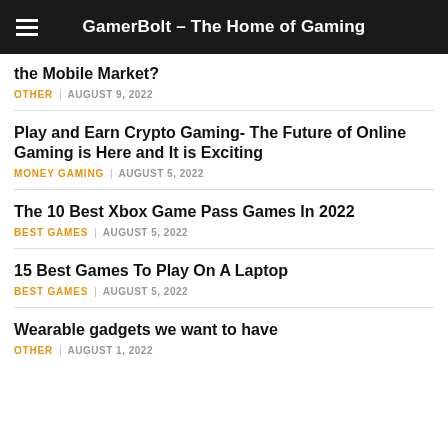GamerBolt – The Home of Gaming
the Mobile Market?
OTHER  AUGUST 9, 2022
Play and Earn Crypto Gaming- The Future of Online Gaming is Here and It is Exciting
MONEY GAMING  AUGUST 5, 2022
The 10 Best Xbox Game Pass Games In 2022
BEST GAMES  AUGUST 5, 2022
15 Best Games To Play On A Laptop
BEST GAMES  AUGUST 5, 2022
Wearable gadgets we want to have
OTHER  AUGUST 1, 2022